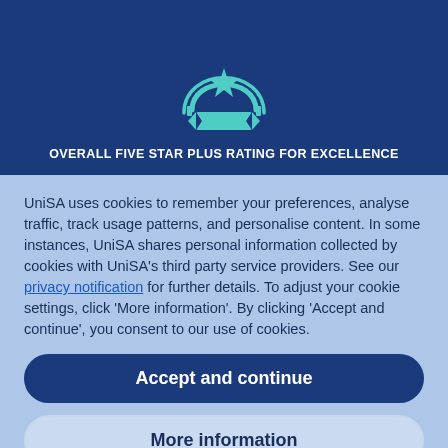[Figure (illustration): Award/excellence badge icon in teal/mint color — a star inside a circular ribbon arch above a banner ribbon, on dark blue background]
OVERALL FIVE STAR PLUS RATING FOR EXCELLENCE
UniSA uses cookies to remember your preferences, analyse traffic, track usage patterns, and personalise content. In some instances, UniSA shares personal information collected by cookies with UniSA's third party service providers. See our privacy notification for further details. To adjust your cookie settings, click 'More information'. By clicking 'Accept and continue', you consent to our use of cookies.
Accept and continue
More information